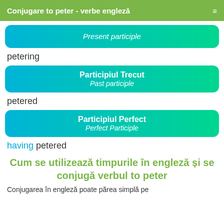Conjugare to peter - verbe engleză
Present participle
petering
Participiul Trecut
Past participle
petered
Participiul Perfect
Perfect Participle
having petered
Cum se utilizează timpurile în engleză și se conjugă verbul to peter
Conjugarea în engleză poate părea simplă pe